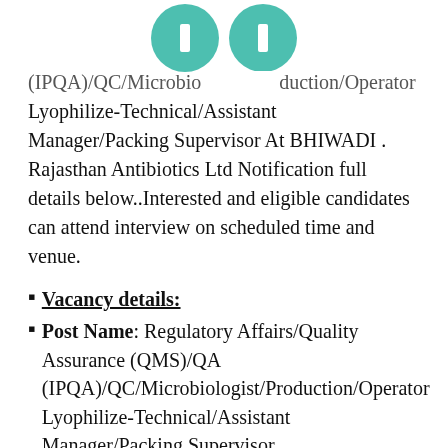[Figure (illustration): Two teal/green circular buttons at top of page]
(IPQA)/QC/Microbiologist/Production/Operator Lyophilize-Technical/Assistant Manager/Packing Supervisor At BHIWADI . Rajasthan Antibiotics Ltd Notification full details below..Interested and eligible candidates can attend interview on scheduled time and venue.
Vacancy details:
Post Name: Regulatory Affairs/Quality Assurance (QMS)/QA (IPQA)/QC/Microbiologist/Production/Operator Lyophilize-Technical/Assistant Manager/Packing Supervisor
Qualification: B. Pharma / M Pharm/ M Sc/D.pharma/12th, /ITI, /Diploma/Graduate/B.tech